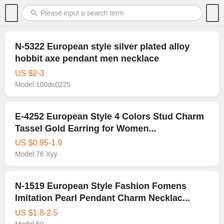[Figure (screenshot): Search bar with magnifier icon placeholder on the left, rounded search input field with 'Please input a search term' placeholder text, and a square icon on the right.]
N-5322 European style silver plated alloy hobbit axe pendant men necklace
US $2-3
Model:100ds0225
E-4252 European Style 4 Colors Stud Charm Tassel Gold Earring for Women...
US $0.95-1.9
Model:76 Xyy
N-1519 European Style Fashion Fomens Imitation Pearl Pendant Charm Necklac...
US $1.8-2.5
Model:50